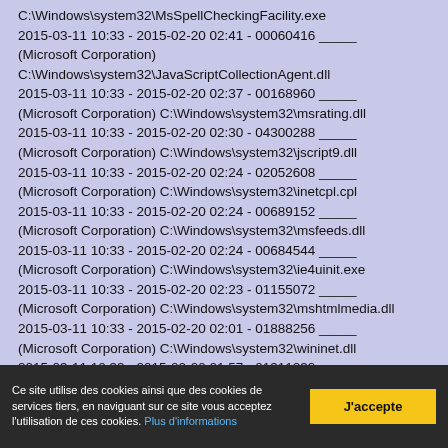C:\Windows\system32\MsSpellCheckingFacility.exe 2015-03-11 10:33 - 2015-02-20 02:41 - 00060416 _____ (Microsoft Corporation) C:\Windows\system32\JavaScriptCollectionAgent.dll 2015-03-11 10:33 - 2015-02-20 02:37 - 00168960 _____ (Microsoft Corporation) C:\Windows\system32\msrating.dll 2015-03-11 10:33 - 2015-02-20 02:30 - 04300288 _____ (Microsoft Corporation) C:\Windows\system32\jscript9.dll 2015-03-11 10:33 - 2015-02-20 02:24 - 02052608 _____ (Microsoft Corporation) C:\Windows\system32\inetcpl.cpl 2015-03-11 10:33 - 2015-02-20 02:24 - 00689152 _____ (Microsoft Corporation) C:\Windows\system32\msfeeds.dll 2015-03-11 10:33 - 2015-02-20 02:24 - 00684544 _____ (Microsoft Corporation) C:\Windows\system32\ie4uinit.exe 2015-03-11 10:33 - 2015-02-20 02:23 - 01155072 _____ (Microsoft Corporation) C:\Windows\system32\mshtmlmedia.dll 2015-03-11 10:33 - 2015-02-20 02:01 - 01888256 _____ (Microsoft Corporation) C:\Windows\system32\wininet.dll 2015-03-11 10:33 - 2015-02-20 01:57 - 01311232 _____ (Microsoft Corporation) C:\Windows\system32\urlmon.dll
Ce site utilise des cookies ainsi que des cookies de services tiers, en naviguant sur ce site vous acceptez l'utilisation de ces cookies. Plus d'informations